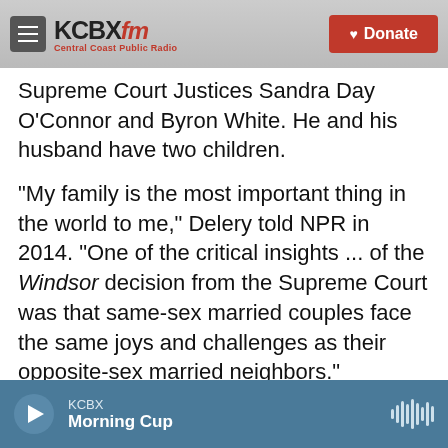KCBX FM — Central Coast Public Radio | Donate
Supreme Court Justices Sandra Day O'Connor and Byron White. He and his husband have two children.
"My family is the most important thing in the world to me," Delery told NPR in 2014. "One of the critical insights ... of the Windsor decision from the Supreme Court was that same-sex married couples face the same joys and challenges as their opposite-sex married neighbors."
Verrilli, who worked as Solicitor General during the Obama years, said he interacted with Delery throughout that era.
KCBX — Morning Cup